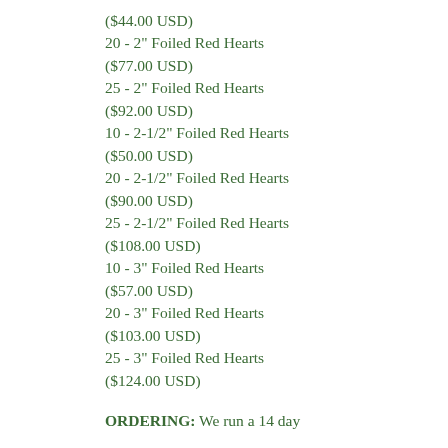($44.00 USD)
20 - 2" Foiled Red Hearts ($77.00 USD)
25 - 2" Foiled Red Hearts ($92.00 USD)
10 - 2-1/2" Foiled Red Hearts ($50.00 USD)
20 - 2-1/2" Foiled Red Hearts ($90.00 USD)
25 - 2-1/2" Foiled Red Hearts ($108.00 USD)
10 - 3" Foiled Red Hearts ($57.00 USD)
20 - 3" Foiled Red Hearts ($103.00 USD)
25 - 3" Foiled Red Hearts ($124.00 USD)
ORDERING: We run a 14 day